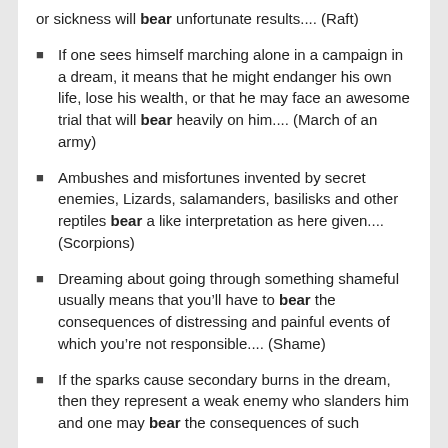or sickness will bear unfortunate results.... (Raft)
If one sees himself marching alone in a campaign in a dream, it means that he might endanger his own life, lose his wealth, or that he may face an awesome trial that will bear heavily on him.... (March of an army)
Ambushes and misfortunes invented by secret enemies, Lizards, salamanders, basilisks and other reptiles bear a like interpretation as here given.... (Scorpions)
Dreaming about going through something shameful usually means that you’ll have to bear the consequences of distressing and painful events of which you’re not responsible.... (Shame)
If the sparks cause secondary burns in the dream, then they represent a weak enemy who slanders him and one may bear the consequences of such